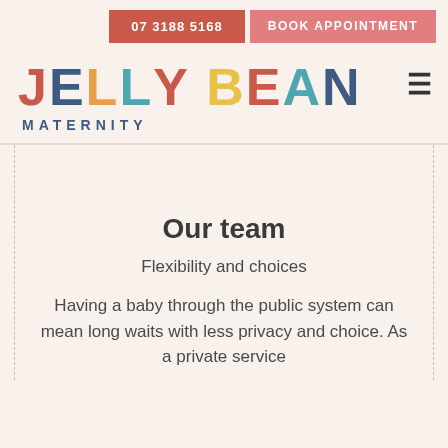07 3188 5168  BOOK APPOINTMENT
JELLY BEAN MATERNITY
Our team
Flexibility and choices
Having a baby through the public system can mean long waits with less privacy and choice. As a private service